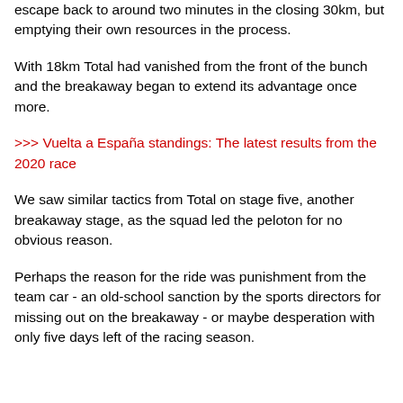escape back to around two minutes in the closing 30km, but emptying their own resources in the process.
With 18km Total had vanished from the front of the bunch and the breakaway began to extend its advantage once more.
>>> Vuelta a España standings: The latest results from the 2020 race
We saw similar tactics from Total on stage five, another breakaway stage, as the squad led the peloton for no obvious reason.
Perhaps the reason for the ride was punishment from the team car - an old-school sanction by the sports directors for missing out on the breakaway - or maybe desperation with only five days left of the racing season.